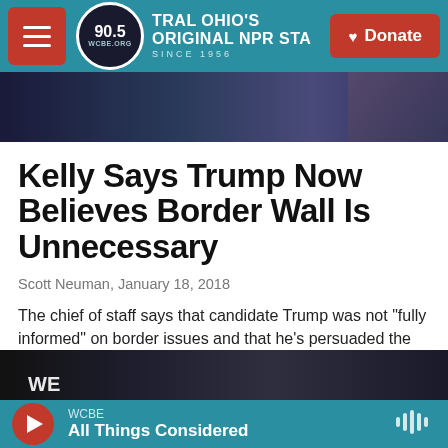90.5 WCBE — CENTRAL OHIO'S ORIGINAL NPR STATION SINCE 1956
[Figure (photo): Dark blue toned image, partial view of a person/stage scene]
Kelly Says Trump Now Believes Border Wall Is Unnecessary
Scott Neuman,  January 18, 2018
The chief of staff says that candidate Trump was not "fully informed" on border issues and that he's persuaded the president that the wall is not needed.
[Figure (photo): Dark image showing a protest sign with 'WE' visible]
WCBE — All Things Considered